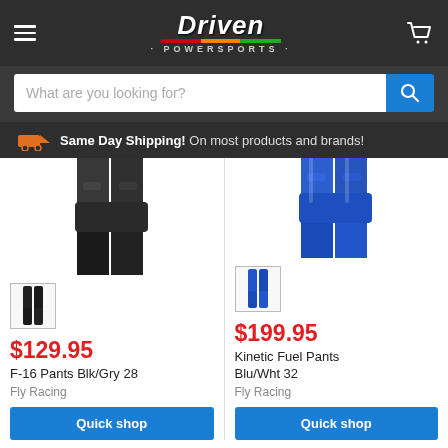Driven Powersports
What are you looking for?
Same Day Shipping! On most products and brands!
[Figure (photo): Black motocross pants (F-16 Pants Blk/Gry 28) displayed on invisible model, dark charcoal/black color]
[Figure (photo): Blue motocross pants (Kinetic Fuel Pants Blu/Wht 32) displayed on invisible model, bright blue color]
$129.95
F-16 Pants Blk/Gry 28
Fly Racing
$199.95
Kinetic Fuel Pants Blu/Wht 32
Fly Racing
Quick shop
Quick shop